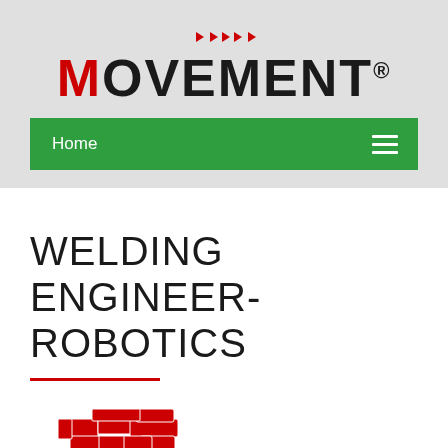[Figure (logo): MOVEMENT logo with red M and small red arrow icons above the text]
Home
WELDING ENGINEER- ROBOTICS
[Figure (map): Red silhouette map of southeastern United States states]